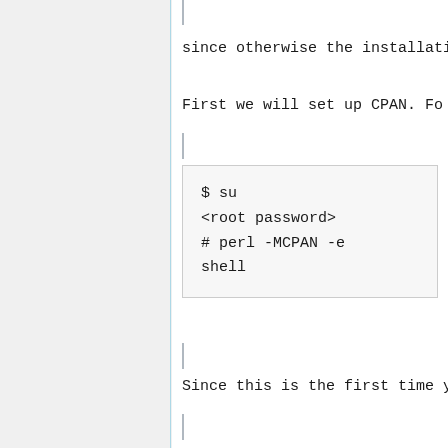since otherwise the installati
First we will set up CPAN. Fo
$ su
<root password>
# perl -MCPAN -e
shell
Since this is the first time y
cpan> reload index